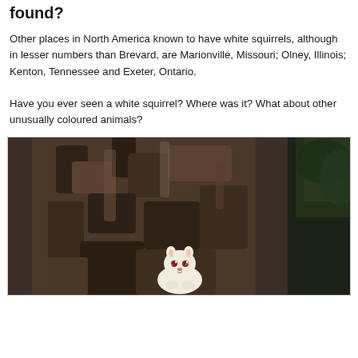found?
Other places in North America known to have white squirrels, although in lesser numbers than Brevard, are Marionville, Missouri; Olney, Illinois; Kenton, Tennessee and Exeter, Ontario.
Have you ever seen a white squirrel? Where was it? What about other unusually coloured animals?
[Figure (photo): A white squirrel peering around the base of a large tree with dark, rough bark. Green foliage is visible in the upper right background.]